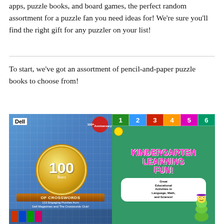This guide is a grab bag of all sorts of puzzle games, apps, puzzle books, and board games, the perfect random assortment for a puzzle fan you need ideas for! We're sure you'll find the right gift for any puzzler on your list!
To start, we've got an assortment of pencil-and-paper puzzle books to choose from!
[Figure (photo): Two puzzle book covers side by side. Left: Dell '100 Years of Crosswords' book with gold medallion, 113 Engaging Puzzles from Dell Magazines and The Crosswords Club, 100th Anniversary badge. Right: 'Kindergarten Learning Fun!' book with colorful numbers 1-6 across top, green background, cartoon worm character, and text 'Great Educational Activities in Language, Math, and Science!']